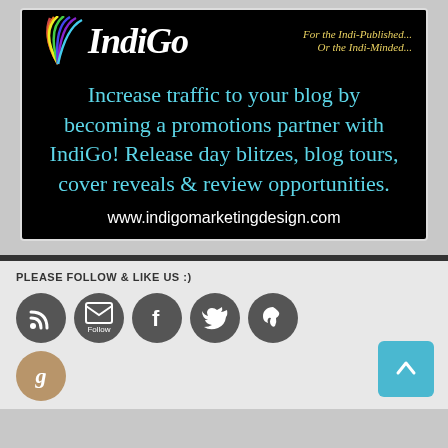[Figure (illustration): IndiGo Marketing Design advertisement on black background. Features the IndiGo logo with rainbow fan graphic, tagline 'For the Indi-Published... Or the Indi-Minded...', main text in teal reading 'Increase traffic to your blog by becoming a promotions partner with IndiGo! Release day blitzes, blog tours, cover reveals & review opportunities.' and URL www.indigomarketingdesign.com in white.]
PLEASE FOLLOW & LIKE US :)
[Figure (illustration): Row of circular dark gray social media icons: RSS feed, Email/Follow, Facebook, Twitter, Pinterest. Below: Goodreads gold circle icon with 'g'. Blue back-to-top button with up arrow in bottom right.]